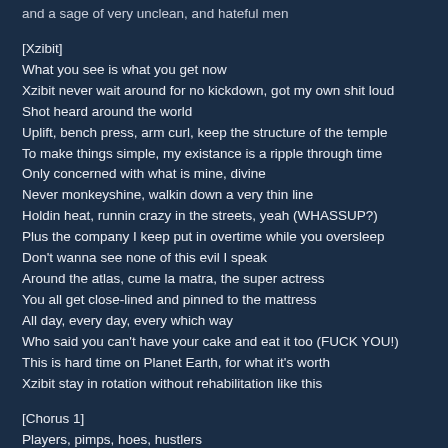and a sage of very unclean, and hateful men
[Xzibit]
What you see is what you get now
Xzibit never wait around for no kickdown, got my own shit loud
Shot heard around the world
Uplift, bench press, arm curl, keep the structure of the temple
To make things simple, my existance is a ripple through time
Only concerned with what is mine, divine
Never monkeyshine, walkin down a very thin line
Holdin heat, runnin crazy in the streets, yeah (WHASSUP?)
Plus the company I keep put in overtime while you oversleep
Don't wanna see none of this evil I speak
Around the atlas, cume la matra, the super actress
You all get close-lined and pinned to the mattress
All day, every day, every which way
Who said you can't have your cake and eat it too (FUCK YOU!)
This is hard time on Planet Earth, for what it's worth
Xzibit stay in rotation without rehabilitation like this
[Chorus 1]
Players, pimps, hoes, hustlers
Willies, thugs, ballers, busters
Gangstas, macks, everyday, all day
Shot callers, even high rollers keep it movin
[Chorus 2: Xzibit]
What you see is what you get now
The kinda style make the whole world go wild
Bless the child that can hold his own, flesh 'n bone
and no matter where I roam I feel right at home, yeah